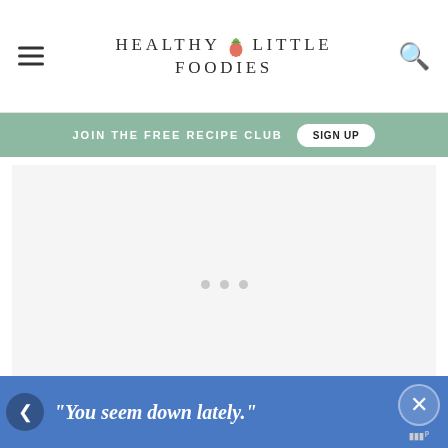HEALTHY LITTLE FOODIES
JOIN THE FREE RECIPE CLUB  SIGN UP
[Figure (screenshot): Advertisement loading placeholder area with three gray dots centered in a light gray box, and a Mediavine logo watermark in bottom right corner]
"You seem down lately."